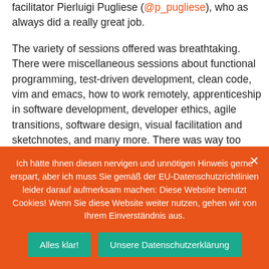facilitator Pierluigi Pugliese (@p_pugliese), who as always did a really great job.

The variety of sessions offered was breathtaking. There were miscellaneous sessions about functional programming, test-driven development, clean code, vim and emacs, how to work remotely, apprenticeship in software development, developer ethics, agile transitions, software design, visual facilitation and sketchnotes, and many more. There was way too much to mention everything in this article. As always the attendees had been spoiled for choice, and they had to make compromises while choosing where to participate.
Ich hätte Ihnen diesen nervigen und unnötigen Hinweis gerne erspart, aber ich muss Sie gemäß der EU-Datenschutzrichtlinien leider darauf aufmerksam machen: Diese Website benutzt Cookies! Wenn Sie diese Website weiter nutzen, gehen wir von Ihrem Einverständnis aus.